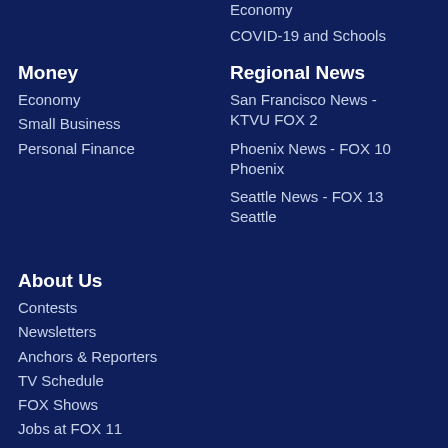Economy
COVID-19 and Schools
Money
Economy
Small Business
Personal Finance
Regional News
San Francisco News - KTVU FOX 2
Phoenix News - FOX 10 Phoenix
Seattle News - FOX 13 Seattle
About Us
Contests
Newsletters
Anchors & Reporters
TV Schedule
FOX Shows
Jobs at FOX 11
Advertising